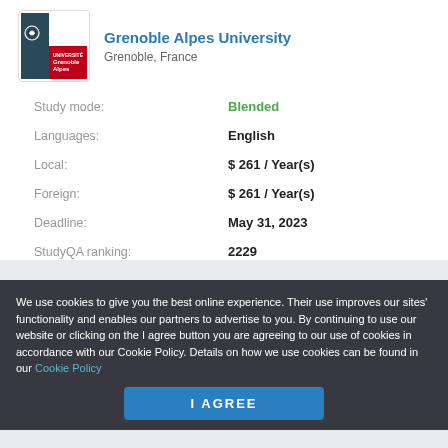Grenoble Alpes University
Grenoble, France
Study mode: Blended
Languages: English
Local: $ 261 / Year(s)
Foreign: $ 261 / Year(s)
Deadline: May 31, 2023
StudyQA ranking: 2229
We use cookies to give you the best online experience. Their use improves our sites' functionality and enables our partners to advertise to you. By continuing to use our website or clicking on the I agree button you are agreeing to our use of cookies in accordance with our Cookie Policy. Details on how we use cookies can be found in our Cookie Policy